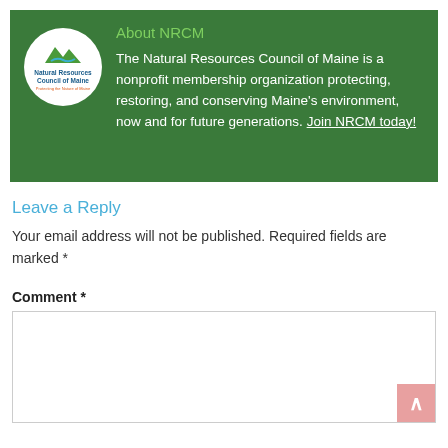[Figure (logo): Natural Resources Council of Maine circular logo with mountain and river imagery on white background]
About NRCM
The Natural Resources Council of Maine is a nonprofit membership organization protecting, restoring, and conserving Maine's environment, now and for future generations. Join NRCM today!
Leave a Reply
Your email address will not be published. Required fields are marked *
Comment *